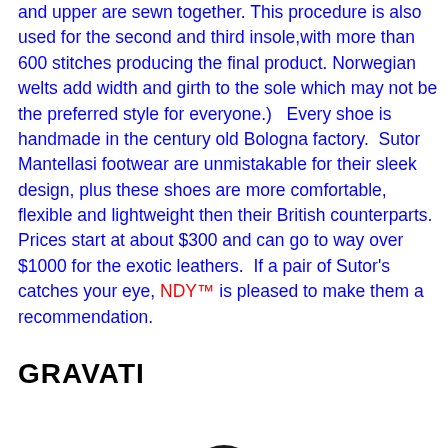and upper are sewn together. This procedure is also used for the second and third insole,with more than 600 stitches producing the final product. Norwegian welts add width and girth to the sole which may not be the preferred style for everyone.)   Every shoe is handmade in the century old Bologna factory.  Sutor Mantellasi footwear are unmistakable for their sleek design, plus these shoes are more comfortable, flexible and lightweight then their British counterparts.  Prices start at about $300 and can go to way over $1000 for the exotic leathers.  If a pair of Sutor's catches your eye, NDY™ is pleased to make them a recommendation.
GRAVATI
[Figure (logo): Partial dark circular logo visible at bottom center of page]